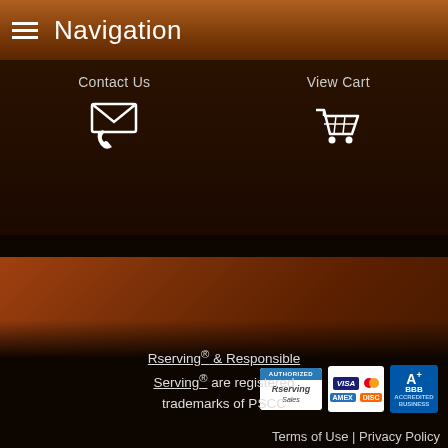Navigation
Contact Us
View Cart
[Figure (logo): Rserving sales badge logo]
[Figure (logo): Credit card logos: VISA, Mastercard, AmEx, Discover]
[Figure (logo): BBB A+ rating badge]
Rserving® & Responsible Serving® are registered trademarks of PSCC
Terms of Use | Privacy Policy